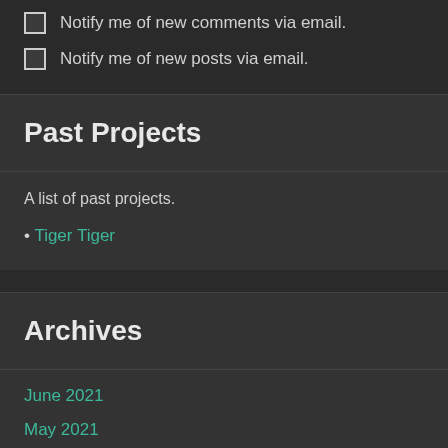Notify me of new comments via email.
Notify me of new posts via email.
Past Projects
A list of past projects.
Tiger Tiger
Archives
June 2021
May 2021
January 2021
December 2020